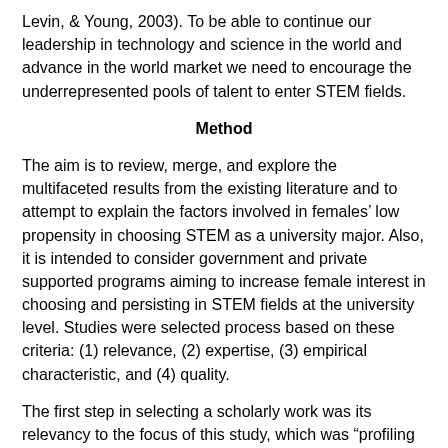Levin, & Young, 2003). To be able to continue our leadership in technology and science in the world and advance in the world market we need to encourage the underrepresented pools of talent to enter STEM fields.
Method
The aim is to review, merge, and explore the multifaceted results from the existing literature and to attempt to explain the factors involved in females' low propensity in choosing STEM as a university major. Also, it is intended to consider government and private supported programs aiming to increase female interest in choosing and persisting in STEM fields at the university level. Studies were selected process based on these criteria: (1) relevance, (2) expertise, (3) empirical characteristic, and (4) quality.
The first step in selecting a scholarly work was its relevancy to the focus of this study, which was "profiling females who enroll and stay in STEM fields at university level." A set of criteria for relevancies was established. Each study had to provide insight into issues